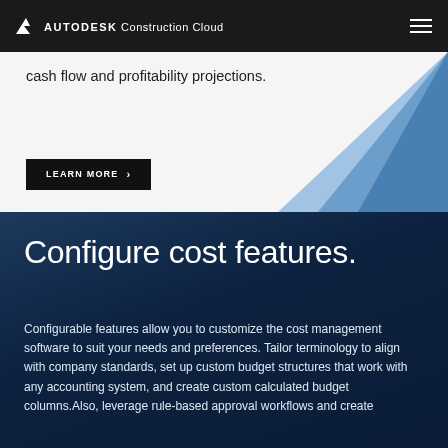AUTODESK Construction Cloud
cash flow and profitability projections.
LEARN MORE ›
Configure cost features.
Configurable features allow you to customize the cost management software to suit your needs and preferences. Tailor terminology to align with company standards, set up custom budget structures that work with any accounting system, and create custom calculated budget columns.Also, leverage rule-based approval workflows and create